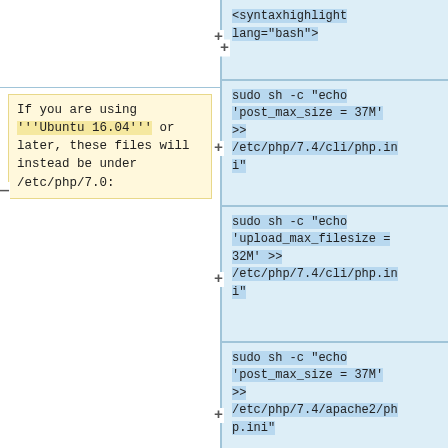If you are using '''Ubuntu 16.04''' or later, these files will instead be under /etc/php/7.0:
<syntaxhighlight lang="bash">
sudo sh -c "echo 'post_max_size = 37M' >> /etc/php/7.4/cli/php.ini"
sudo sh -c "echo 'upload_max_filesize = 32M' >> /etc/php/7.4/cli/php.ini"
sudo sh -c "echo 'post_max_size = 37M' >> /etc/php/7.4/apache2/php.ini"